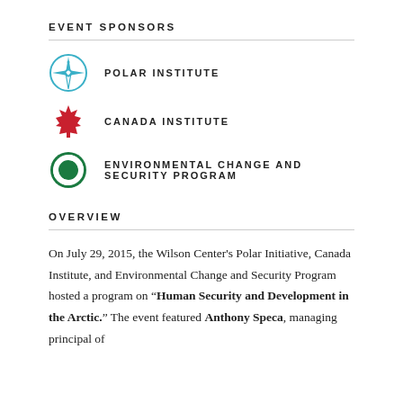EVENT SPONSORS
[Figure (logo): Polar Institute compass logo with teal/blue color]
POLAR INSTITUTE
[Figure (logo): Canada Institute red maple leaf logo]
CANADA INSTITUTE
[Figure (logo): Environmental Change and Security Program green circular logo]
ENVIRONMENTAL CHANGE AND SECURITY PROGRAM
OVERVIEW
On July 29, 2015, the Wilson Center's Polar Initiative, Canada Institute, and Environmental Change and Security Program hosted a program on “Human Security and Development in the Arctic.” The event featured Anthony Speca, managing principal of